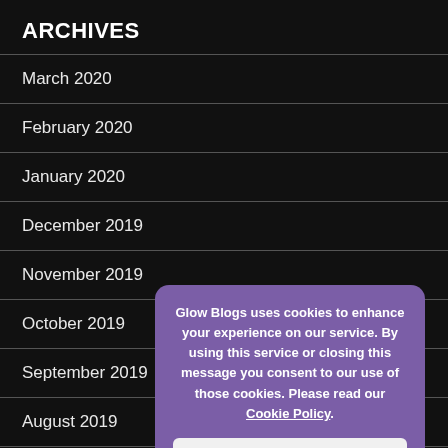ARCHIVES
March 2020
February 2020
January 2020
December 2019
November 2019
October 2019
September 2019
August 2019
June 2019
May 2019
April 2019
Glow Blogs uses cookies to enhance your experience on our service. By using this service or closing this message you consent to our use of those cookies. Please read our Cookie Policy.